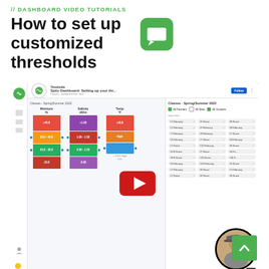// DASHBOARD VIDEO TUTORIALS
How to set up customized thresholds
[Figure (screenshot): YouTube video thumbnail showing Spiio Dashboard: Setting up your thresholds tutorial with a play button overlay, displaying threshold configuration interface with colored bars for Moisture, Salinity, and Temperature columns, and a right panel showing class/student filters.]